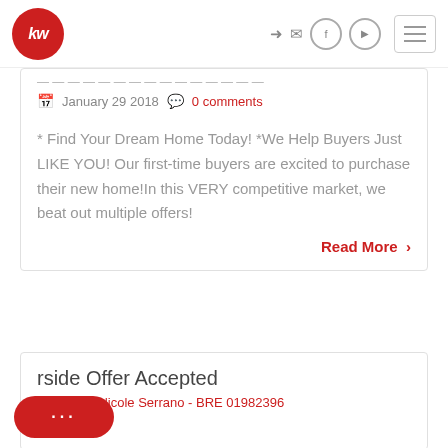[Figure (logo): Keller Williams red circle logo with 'kw' in white italic text]
January 29 2018   0 comments
* Find Your Dream Home Today! *We Help Buyers Just LIKE YOU! Our first-time buyers are excited to purchase their new home!In this VERY competitive market, we beat out multiple offers!
Read More >
rside Offer Accepted
Posted by Nicole Serrano - BRE 01982396